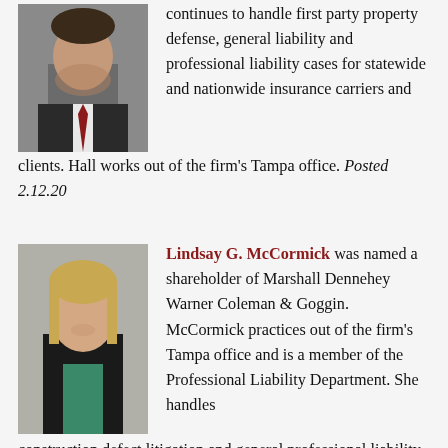[Figure (photo): Headshot of a man in a dark suit with a red tie, smiling]
continues to handle first party property defense, general liability and professional liability cases for statewide and nationwide insurance carriers and clients. Hall works out of the firm's Tampa office. Posted 2.12.20
[Figure (photo): Headshot of a woman with blonde hair wearing a dark blazer and green top, smiling]
Lindsay G. McCormick was named a shareholder of Marshall Dennehey Warner Coleman & Goggin. McCormick practices out of the firm's Tampa office and is a member of the Professional Liability Department. She handles construction defect litigation and general professional liability defense, providing counsel to sub-contractors, general contractors, manufacturers, suppliers,